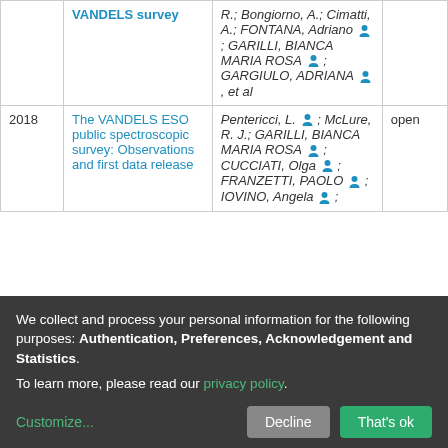| Year | Title | Authors | Access |
| --- | --- | --- | --- |
|  | VANDELS survey | R.; Bongiorno, A.; Cimatti, A.; FONTANA, Adriano 👤; GARILLI, BIANCA MARIA ROSA 👤; GARGIULO, ADRIANA 👤, et al |  |
| 2018 | The VANDELS ESO public spectroscopic survey: Observations and first data release | Pentericci, L. 👤; McLure, R. J.; GARILLI, BIANCA MARIA ROSA 👤; CUCCIATI, Olga 👤; FRANZETTI, PAOLO 👤; IOVINO, Angela 👤; | open |
We collect and process your personal information for the following purposes: Authentication, Preferences, Acknowledgement and Statistics. To learn more, please read our privacy policy.